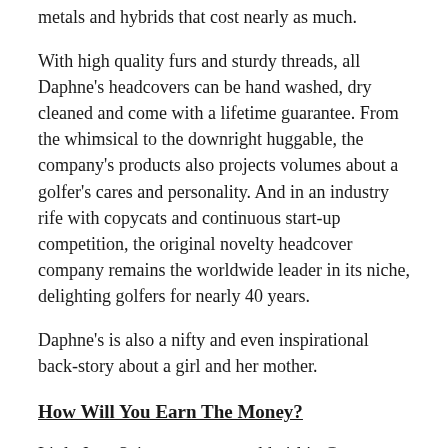metals and hybrids that cost nearly as much.
With high quality furs and sturdy threads, all Daphne's headcovers can be hand washed, dry cleaned and come with a lifetime guarantee. From the whimsical to the downright huggable, the company's products also projects volumes about a golfer's cares and personality. And in an industry rife with copycats and continuous start-up competition, the original novelty headcover company remains the worldwide leader in its niche, delighting golfers for nearly 40 years.
Daphne's is also a nifty and even inspirational back-story about a girl and her mother.
How Will You Earn The Money?
Little Jane Spicer, a ten-year-old girl in Greater Phoenix, Arizona, got the notion that she wanted a sailboat. In an era before helicopter parents indulged every child's wish, her parents Betsy and Joseph didn't it was ill